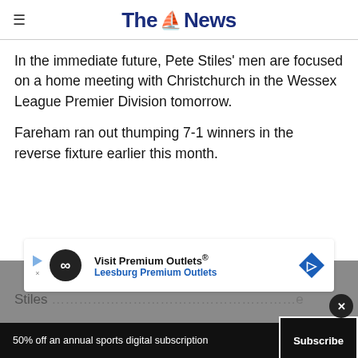The News
In the immediate future, Pete Stiles' men are focused on a home meeting with Christchurch in the Wessex League Premier Division tomorrow.
Fareham ran out thumping 7-1 winners in the reverse fixture earlier this month.
Stiles [partially obscured by ad]
[Figure (other): Advertisement banner for Visit Premium Outlets / Leesburg Premium Outlets with circular logo and blue diamond navigation icon]
50% off an annual sports digital subscription  Subscribe